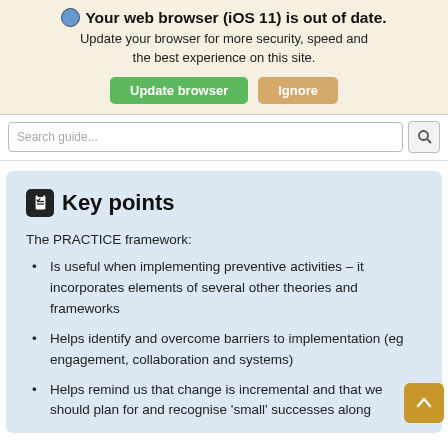[Figure (screenshot): Browser warning banner: globe icon, bold text 'Your web browser (iOS 11) is out of date.', subtitle 'Update your browser for more security, speed and the best experience on this site.', green 'Update browser' button and tan 'Ignore' button.]
[Figure (screenshot): Search bar with placeholder text 'Search guide...' and a search icon button on the right.]
Key points
The PRACTICE framework:
Is useful when implementing preventive activities – it incorporates elements of several other theories and frameworks
Helps identify and overcome barriers to implementation (eg engagement, collaboration and systems)
Helps remind us that change is incremental and that we should plan for and recognise 'small' successes along